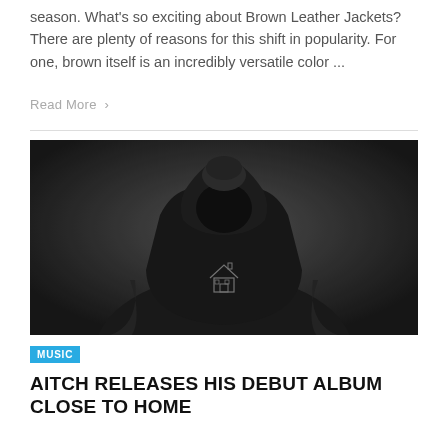season. What's so exciting about Brown Leather Jackets? There are plenty of reasons for this shift in popularity. For one, brown itself is an incredibly versatile color ...
Read More >
[Figure (photo): Black and white photograph of a person wearing a dark hoodie with a house logo on the chest, hood pulled up, viewed from the front, moody dark background.]
MUSIC
AITCH RELEASES HIS DEBUT ALBUM CLOSE TO HOME